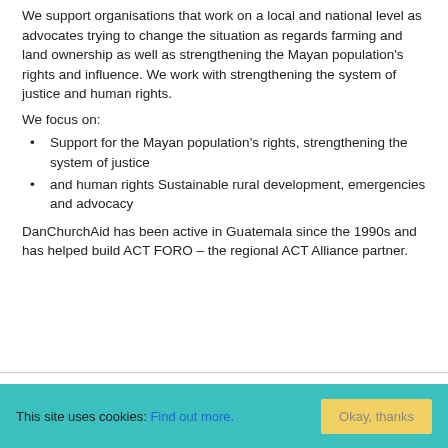We support organisations that work on a local and national level as advocates trying to change the situation as regards farming and land ownership as well as strengthening the Mayan population's rights and influence. We work with strengthening the system of justice and human rights.
We focus on:
Support for the Mayan population's rights, strengthening the system of justice
and human rights Sustainable rural development, emergencies and advocacy
DanChurchAid has been active in Guatemala since the 1990s and has helped build ACT FORO – the regional ACT Alliance partner.
This site uses cookies: Find out more. Okay, thanks